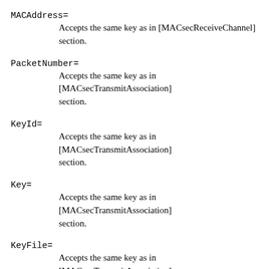MACAddress=
    Accepts the same key as in [MACsecReceiveChannel] section.
PacketNumber=
    Accepts the same key as in [MACsecTransmitAssociation] section.
KeyId=
    Accepts the same key as in [MACsecTransmitAssociation] section.
Key=
    Accepts the same key as in [MACsecTransmitAssociation] section.
KeyFile=
    Accepts the same key as in [MACsecTransmitAssociation] section.
Activate=